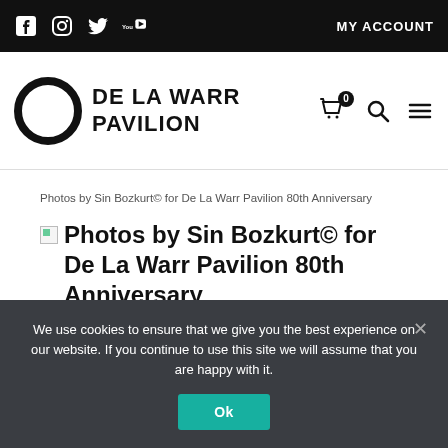MY ACCOUNT — De La Warr Pavilion website header with social icons (Facebook, Instagram, Twitter, YouTube) and MY ACCOUNT link
[Figure (logo): De La Warr Pavilion logo: circular ring mark with text DE LA WARR PAVILION, plus shopping cart (0), search, and menu icons]
Photos by Sin Bozkurt© for De La Warr Pavilion 80th Anniversary
Photos by Sin Bozkurt© for De La Warr Pavilion 80th Anniversary
We use cookies to ensure that we give you the best experience on our website. If you continue to use this site we will assume that you are happy with it.